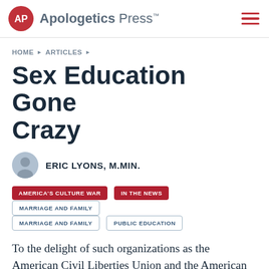Apologetics Press™
HOME › ARTICLES ›
Sex Education Gone Crazy
ERIC LYONS, M.Min.
AMERICA'S CULTURE WAR
IN THE NEWS
MARRIAGE AND FAMILY
MARRIAGE AND FAMILY
PUBLIC EDUCATION
To the delight of such organizations as the American Civil Liberties Union and the American Humanist Association, on July 14, 2005 the U.S. Senate Appropriations Committee announced its